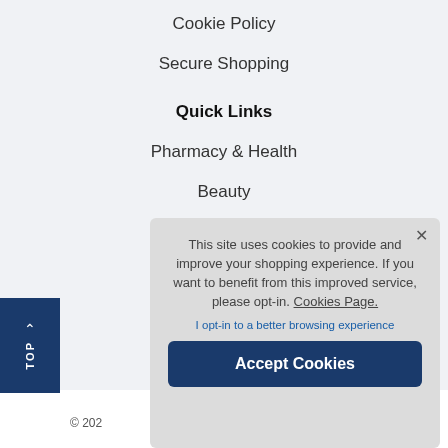Cookie Policy
Secure Shopping
Quick Links
Pharmacy & Health
Beauty
Fragrance
TOP
© 202
This site uses cookies to provide and improve your shopping experience. If you want to benefit from this improved service, please opt-in. Cookies Page.

I opt-in to a better browsing experience

Accept Cookies